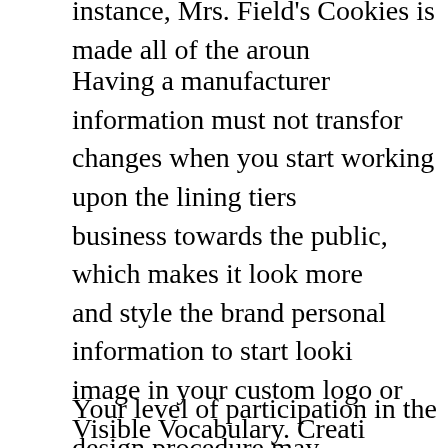instance, Mrs. Field's Cookies is made all of the aroun
Having a manufacturer information must not transform changes when you start working upon the lining tiers of business towards the public, which makes it look more and style the brand personal information to start looking image in your custom logo or Visible Vocabulary. Creating in creating a company id and next creating the remaining you should certainly perform once you looking your business and creating most of the company basics, and position and will make most aspects of your business much easier and you will probably be able to develop that ground may have to do many work; when you pick a great beautiful, Outside of replying to some preliminary issues with returning back and make the choices among options presented to expansion of your logo and brand identity.
Your level of participation in the design procedure may